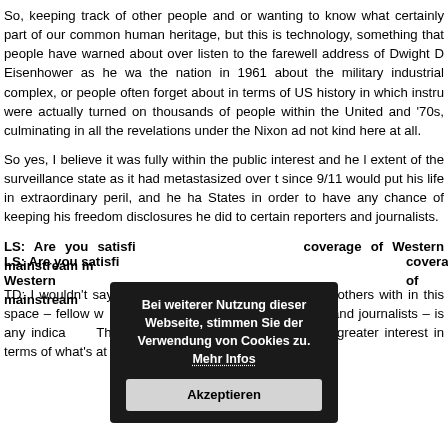So, keeping track of other people and or wanting to know what certainly part of our common human heritage, but this is technology, something that people have warned about over listen to the farewell address of Dwight D Eisenhower as he wa the nation in 1961 about the military industrial complex, or people often forget about in terms of US history in which instru were actually turned on thousands of people within the Unite and '70s, culminating in all the revelations under the Nixon a not kind here at all.
So yes, I believe it was fully within the public interest and he extent of the surveillance state as it had metastasized over since 9/11 would put his life in extraordinary peril, and he ha States in order to have any chance of keeping his freedo disclosures he did to certain reporters and journalists.
LS: Are you satisfied with regards to the coverage of Western mainstream m
TD: I wouldn't say I'm satisfied. My own experience and others with in this space – fellow w and advocates and a reporters and journalists – is any indication. The internation continues to take a far greater interest in terms of what's at sta
[Figure (other): Cookie consent overlay popup with dark background. Text reads 'Bei weiterer Nutzung dieser Webseite, stimmen Sie der Verwendung von Cookies zu. Mehr Infos' with an 'Akzeptieren' button.]